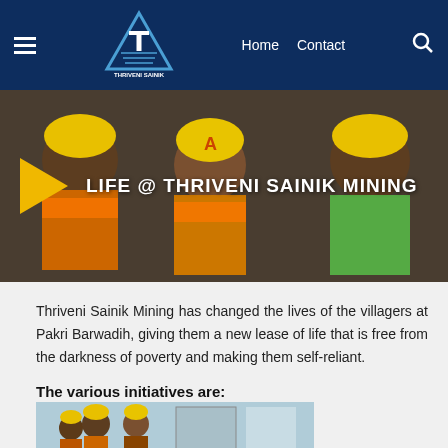Home  Contact
[Figure (screenshot): Hero image showing three workers wearing yellow hard hats and orange safety vests, with a gold play button triangle and text 'LIFE @ THRIVENI SAINIK MINING']
Thriveni Sainik Mining has changed the lives of the villagers at Pakri Barwadih, giving them a new lease of life that is free from the darkness of poverty and making them self-reliant.
The various initiatives are:
[Figure (photo): Photo of workers in yellow helmets gathered indoors, partial view at bottom of page]